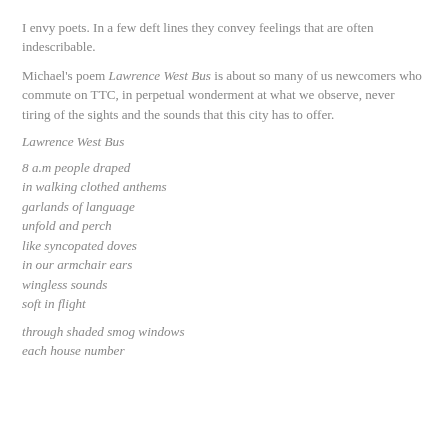I envy poets. In a few deft lines they convey feelings that are often indescribable.
Michael's poem Lawrence West Bus is about so many of us newcomers who commute on TTC, in perpetual wonderment at what we observe, never tiring of the sights and the sounds that this city has to offer.
Lawrence West Bus
8 a.m people draped
in walking clothed anthems
garlands of language
unfold and perch
like syncopated doves
in our armchair ears
wingless sounds
soft in flight
through shaded smog windows
each house number